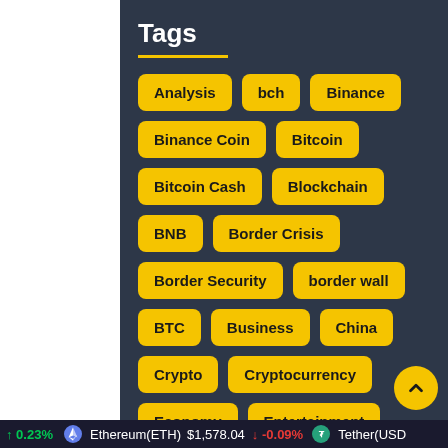Tags
Analysis
bch
Binance
Binance Coin
Bitcoin
Bitcoin Cash
Blockchain
BNB
Border Crisis
Border Security
border wall
BTC
Business
China
Crypto
Cryptocurrency
Economy
Entertainment
↑ 0.23%  Ethereum(ETH)  $1,578.04  ↓ -0.09%  Tether(USD